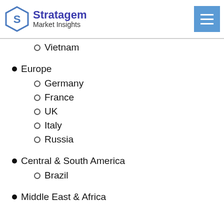Stratagem Market Insights
Thailand
Malaysia
Philippines
Vietnam
Europe
Germany
France
UK
Italy
Russia
Central & South America
Brazil
Middle East & Africa